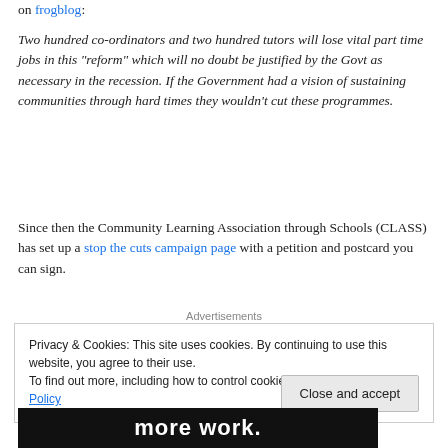on frogblog:
Two hundred co-ordinators and two hundred tutors will lose vital part time jobs in this “reform” which will no doubt be justified by the Govt as necessary in the recession. If the Government had a vision of sustaining communities through hard times they wouldn’t cut these programmes.
Since then the Community Learning Association through Schools (CLASS) has set up a stop the cuts campaign page with a petition and postcard you can sign.
Advertisements
Privacy & Cookies: This site uses cookies. By continuing to use this website, you agree to their use.
To find out more, including how to control cookies, see here: Cookie Policy
Close and accept
[Figure (other): Advertisement banner showing text 'more work.' in white on black background]